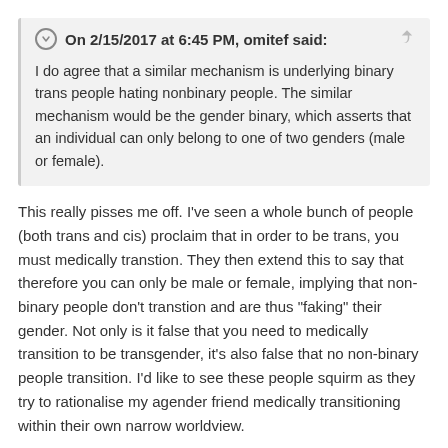On 2/15/2017 at 6:45 PM, omitef said: I do agree that a similar mechanism is underlying binary trans people hating nonbinary people. The similar mechanism would be the gender binary, which asserts that an individual can only belong to one of two genders (male or female).
This really pisses me off. I've seen a whole bunch of people (both trans and cis) proclaim that in order to be trans, you must medically transtion. They then extend this to say that therefore you can only be male or female, implying that non-binary people don't transtion and are thus "faking" their gender. Not only is it false that you need to medically transition to be transgender, it's also false that no non-binary people transition. I'd like to see these people squirm as they try to rationalise my agender friend medically transitioning within their own narrow worldview.